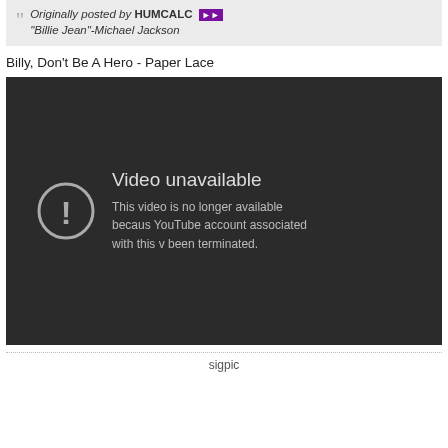Originally posted by HUMCALC
"Billie Jean"-Michael Jackson
Billy, Don't Be A Hero - Paper Lace
[Figure (screenshot): YouTube video unavailable error screen on dark background. Shows exclamation mark in circle icon with text: 'Video unavailable. This video is no longer available because the YouTube account associated with this video has been terminated.']
sigpic